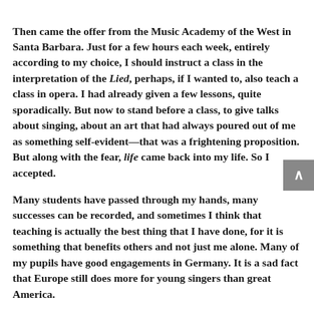Then came the offer from the Music Academy of the West in Santa Barbara. Just for a few hours each week, entirely according to my choice, I should instruct a class in the interpretation of the Lied, perhaps, if I wanted to, also teach a class in opera. I had already given a few lessons, quite sporadically. But now to stand before a class, to give talks about singing, about an art that had always poured out of me as something self-evident—that was a frightening proposition. But along with the fear, life came back into my life. So I accepted.
Many students have passed through my hands, many successes can be recorded, and sometimes I think that teaching is actually the best thing that I have done, for it is something that benefits others and not just me alone. Many of my pupils have good engagements in Germany. It is a sad fact that Europe still does more for young singers than great America.